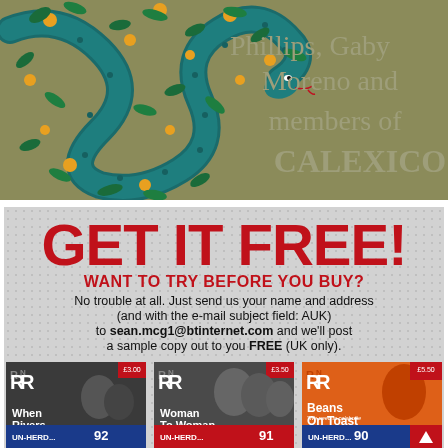[Figure (illustration): Album cover or promotional image with olive/khaki background featuring a decorative teal snake with floral/leaf and orange dot pattern. Text reads: Phillips, Gaby Moreno and members of CALEXICO in gray serif font on the right side.]
[Figure (infographic): Advertisement on gray dotted background: GET IT FREE! WANT TO TRY BEFORE YOU BUY? No trouble at all. Just send us your name and address (and with the e-mail subject field: AUK) to sean.mcg1@btinternet.com and we'll post a sample copy out to you FREE (UK only). Below are three RnR magazine covers: When Rivers Meet (issue 92), Woman To Woman (issue 91), Beans On Toast (issue 90).]